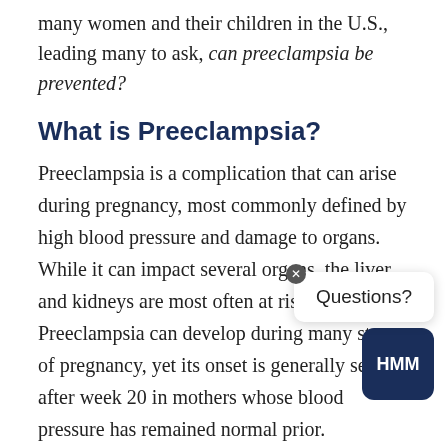many women and their children in the U.S., leading many to ask, can preeclampsia be prevented?
What is Preeclampsia?
Preeclampsia is a complication that can arise during pregnancy, most commonly defined by high blood pressure and damage to organs. While it can impact several organs, the liver and kidneys are most often at risk. Preeclampsia can develop during many stages of pregnancy, yet its onset is generally seen after week 20 in mothers whose blood pressure has remained normal prior.
Because preeclampsia can be fatal when untreated and cause a host of long-term complications, it's essential that medical professionals spot and address it early.